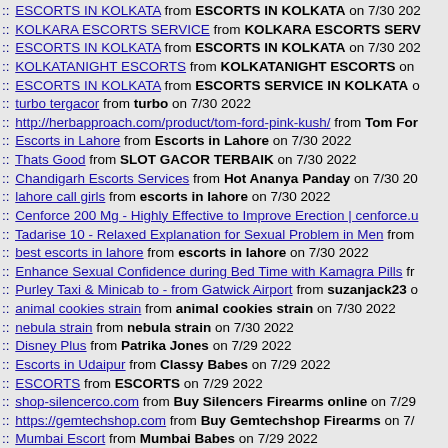:: ESCORTS IN KOLKATA from ESCORTS IN KOLKATA on 7/30 202
:: KOLKARA ESCORTS SERVICE from KOLKARA ESCORTS SERV
:: ESCORTS IN KOLKATA from ESCORTS IN KOLKATA on 7/30 202
:: KOLKATANIGHT ESCORTS from KOLKATANIGHT ESCORTS on
:: ESCORTS IN KOLKATA from ESCORTS SERVICE IN KOLKATA o
:: turbo tergacor from turbo on 7/30 2022
:: http://herbapproach.com/product/tom-ford-pink-kush/ from Tom For
:: Escorts in Lahore from Escorts in Lahore on 7/30 2022
:: Thats Good from SLOT GACOR TERBAIK on 7/30 2022
:: Chandigarh Escorts Services from Hot Ananya Panday on 7/30 20
:: lahore call girls from escorts in lahore on 7/30 2022
:: Cenforce 200 Mg - Highly Effective to Improve Erection | cenforce.u
:: Tadarise 10 - Relaxed Explanation for Sexual Problem in Men from
:: best escorts in lahore from escorts in lahore on 7/30 2022
:: Enhance Sexual Confidence during Bed Time with Kamagra Pills fr
:: Purley Taxi & Minicab to - from Gatwick Airport from suzanjack23 o
:: animal cookies strain from animal cookies strain on 7/30 2022
:: nebula strain from nebula strain on 7/30 2022
:: Disney Plus from Patrika Jones on 7/29 2022
:: Escorts in Udaipur from Classy Babes on 7/29 2022
:: ESCORTS from ESCORTS on 7/29 2022
:: shop-silencerco.com from Buy Silencers Firearms online on 7/29
:: https://gemtechshop.com from Buy Gemtechshop Firearms on 7/
:: Mumbai Escort from Mumbai Babes on 7/29 2022
:: https://staccato2011store.com from Buy staccato2011store Firear
:: personal from personal on 7/29 2022
:: mobile phone repairing near me from Bradley Howell on 7/29 2022
:: Escorts Provider from Call Girls in Lahore on 7/29 2022
:: Escorts Provider from Karachi Call Girls on 7/29 2022
:: Get Help with Business Law Assignment Online from Aline Smith